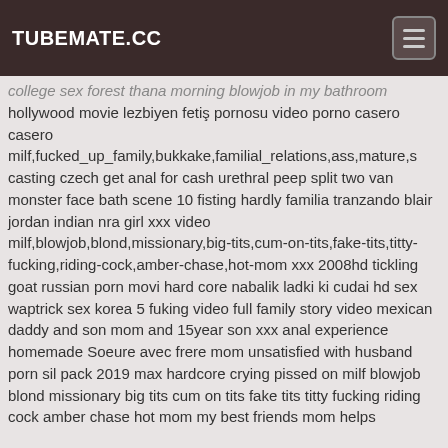TUBEMATE.CC
college sex forest thana morning blowjob in my bathroom hollywood movie lezbiyen fetiş pornosu video porno casero casero milf,fucked_up_family,bukkake,familial_relations,ass,mature,s casting czech get anal for cash urethral peep split two van monster face bath scene 10 fisting hardly familia tranzando blair jordan indian nra girl xxx video milf,blowjob,blond,missionary,big-tits,cum-on-tits,fake-tits,titty-fucking,riding-cock,amber-chase,hot-mom xxx 2008hd tickling goat russian porn movi hard core nabalik ladki ki cudai hd sex waptrick sex korea 5 fuking video full family story video mexican daddy and son mom and 15year son xxx anal experience homemade Soeure avec frere mom unsatisfied with husband porn sil pack 2019 max hardcore crying pissed on milf blowjob blond missionary big tits cum on tits fake tits titty fucking riding cock amber chase hot mom my best friends mom helps